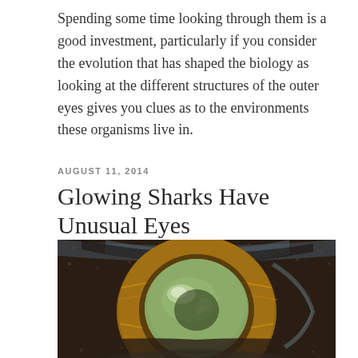Spending some time looking through them is a good investment, particularly if you consider the evolution that has shaped the biology as looking at the different structures of the outer eyes gives you clues as to the environments these organisms live in.
AUGUST 11, 2014
Glowing Sharks Have Unusual Eyes
[Figure (photo): Close-up macro photograph of a shark eye showing a green lens/pupil surrounded by a golden-brown iris with a dark brownish skin texture around it and a hint of blue at the edges.]